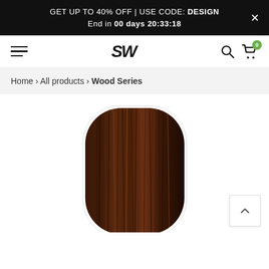GET UP TO 40% OFF | USE CODE: DESIGN  End in 00 days 20:33:18
[Figure (logo): SW brand logo in bold italic black text, hamburger menu icon on left, search and cart icons on right with green badge showing 0]
Home › All products › Wood Series
[Figure (photo): A rounded rectangular wooden panel with dark walnut wood grain texture, white border, photographed from above on white background]